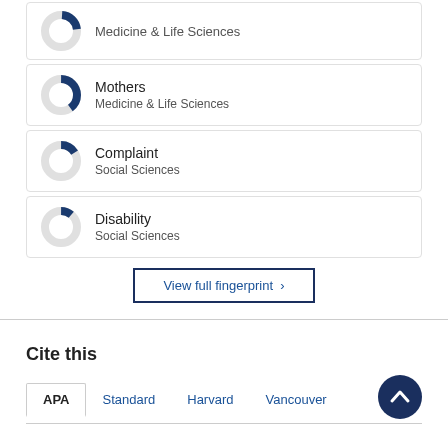[Figure (donut-chart): Partial donut chart icon for Medicine & Life Sciences topic (top, partially cut off)]
Medicine & Life Sciences
[Figure (donut-chart): Partial donut chart icon showing ~40% fill in dark blue for Mothers topic]
Mothers
Medicine & Life Sciences
[Figure (donut-chart): Partial donut chart icon showing ~15% fill in dark blue for Complaint topic]
Complaint
Social Sciences
[Figure (donut-chart): Partial donut chart icon showing ~10% fill in dark blue for Disability topic]
Disability
Social Sciences
View full fingerprint ›
Cite this
APA   Standard   Harvard   Vancouver